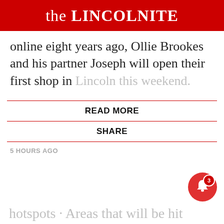the LINCOLNITE
online eight years ago, Ollie Brookes and his partner Joseph will open their first shop in Lincoln this weekend.
READ MORE
SHARE
5 HOURS AGO
[Figure (screenshot): Notification popup showing article thumbnail of police/crowd scene with blue-linked headline 'Dispersal order not connected to Lincoln Pride,' and timestamp '3 hours ago'. A close button (X) appears above the popup. A red bell notification button with badge showing '3' appears bottom right.]
hotspots · Areas that will be hit hardest by rising bills